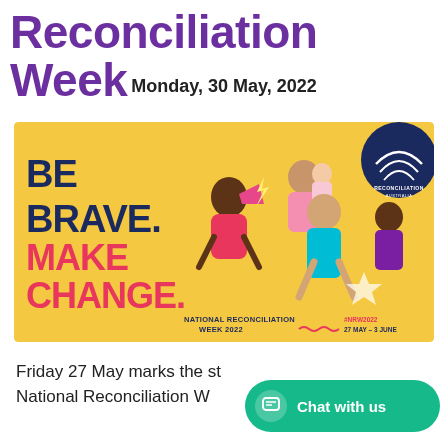Reconciliation Week
Monday, 30 May, 2022
[Figure (illustration): National Reconciliation Week 2022 promotional banner with yellow background. Text reads 'BE BRAVE. MAKE CHANGE.' in bold navy and pink letters. Illustrated diverse group of people in motion. Text also shows 'NATIONAL RECONCILIATION WEEK 2022 #NRW2022 27 MAY – 3 JUNE'. Reconciliation Australia logo in top right corner.]
Friday 27 May marks the st... National Reconciliation W...